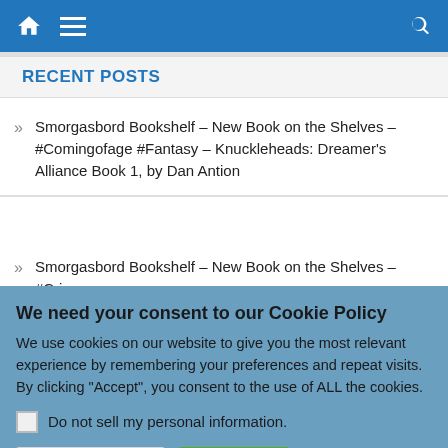Navigation bar with home, menu, and search icons
RECENT POSTS
Smorgasbord Bookshelf – New Book on the Shelves – #Comingofage #Fantasy – Knuckleheads: Dreamer's Alliance Book 1, by Dan Antion
Smorgasbord Bookshelf – New Book on the Shelves – #Crime
We need your consent to our Cookie Policy
We use cookies on our website to give you the most relevant experience by remembering your preferences and repeat visits. By clicking "Accept", you consent to the use of ALL the cookies.
Do not sell my personal information.
Cookie Settings | Accept